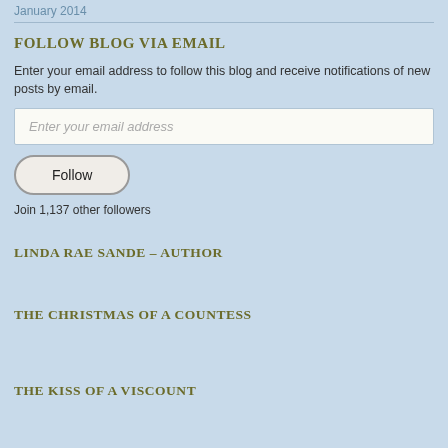January 2014
FOLLOW BLOG VIA EMAIL
Enter your email address to follow this blog and receive notifications of new posts by email.
Enter your email address
Follow
Join 1,137 other followers
LINDA RAE SANDE – AUTHOR
THE CHRISTMAS OF A COUNTESS
THE KISS OF A VISCOUNT